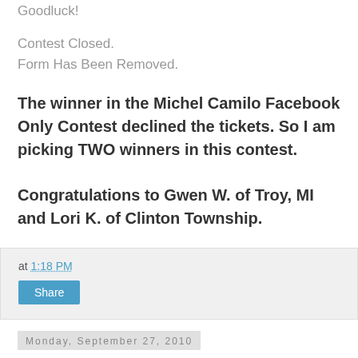Goodluck!
Contest Closed.
Form Has Been Removed.
The winner in the Michel Camilo Facebook Only Contest declined the tickets. So I am picking TWO winners in this contest.
Congratulations to Gwen W. of Troy, MI and Lori K. of Clinton Township.
at 1:18 PM
Share
Monday, September 27, 2010
Save $11 on Cedar Point Tickets by being a Michigan Resident